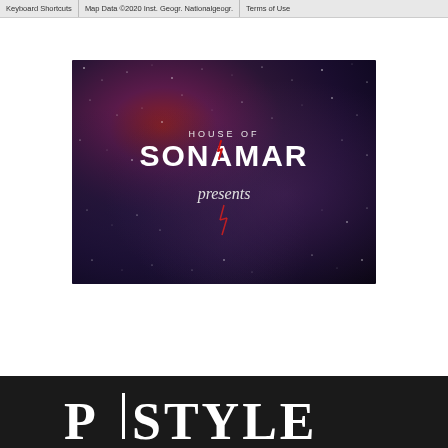Keyboard Shortcuts | Map Data ©2020 Inst. Geogr. Nationalgeogr. | Terms of Use
[Figure (logo): House of Sonamar presents logo on a dark space nebula background with stars. Text reads 'HOUSE OF' in small caps, 'SONAMAR' in large bold letters, and 'presents' in italic below.]
[Figure (logo): Partial text 'PSTYLE' or similar masthead in large white serif letters on a dark/black background bar at the bottom of the page.]